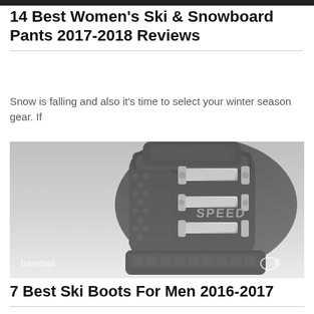[Figure (photo): Dark strip at top of page, partial photo]
14 Best Women's Ski & Snowboard Pants 2017-2018 Reviews
Snow is falling and also it's time to select your winter season gear. If
[Figure (photo): Close-up photo of a black ski boot with silver buckles and SPEED branding, with 'baseball' tag and comment icon showing 0 comments overlaid]
7 Best Ski Boots For Men 2016-2017
With the temperature progressively going down, it's time for brand-new ski equipment. If you
[Figure (photo): Partial gray image at bottom of page]